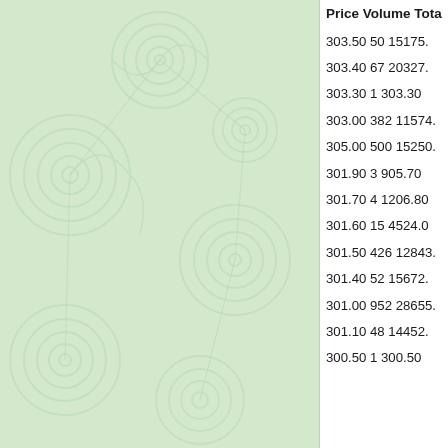[Figure (illustration): Light green background with decorative swirl/spiral patterns in slightly lighter green tones, resembling a fabric or wallpaper texture.]
| Price | Volume | Total |
| --- | --- | --- |
| 303.50 | 50 | 15175... |
| 303.40 | 67 | 20327... |
| 303.30 | 1 | 303.30 |
| 303.00 | 382 | 11574... |
| 305.00 | 500 | 15250... |
| 301.90 | 3 | 905.70 |
| 301.70 | 4 | 1206.80 |
| 301.60 | 15 | 4524.0... |
| 301.50 | 426 | 12843... |
| 301.40 | 52 | 15672... |
| 301.00 | 952 | 28655... |
| 301.10 | 48 | 14452... |
| 300.50 | 1 | 300.50 |